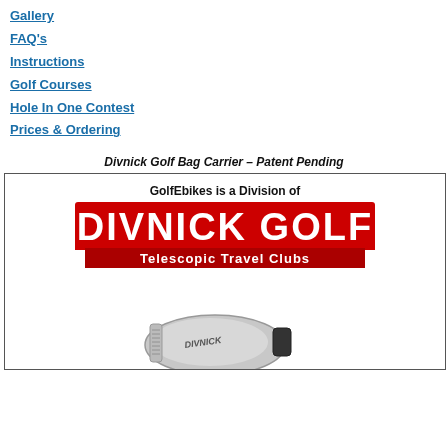Gallery
FAQ's
Instructions
Golf Courses
Hole In One Contest
Prices & Ordering
Divnick Golf Bag Carrier – Patent Pending
[Figure (logo): GolfEbikes division of Divnick Golf Telescopic Travel Clubs logo with large red text and white banner, plus a photo of a Divnick golf club head]